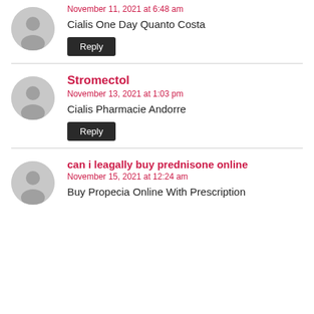Cialis One Day Quanto Costa
November 11, 2021 at 6:48 am
Reply
Stromectol
November 13, 2021 at 1:03 pm
Cialis Pharmacie Andorre
Reply
can i leagally buy prednisone online
November 15, 2021 at 12:24 am
Buy Propecia Online With Prescription